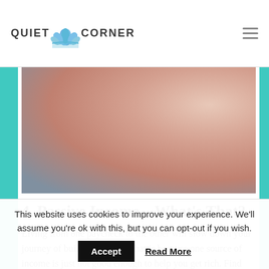QUIET CORNER
[Figure (photo): Close-up photo of a hand with painted fingernails holding or touching a grey/blue surface]
4. Passive Income – What's That?
Living from one paycheck to the other will slow down your journey of building wealth. That is because one source of income is just not good enough to help you get rich. Find means of making income passively. Investing in shares and
This website uses cookies to improve your experience. We'll assume you're ok with this, but you can opt-out if you wish.
Accept   Read More